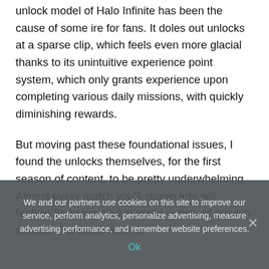unlock model of Halo Infinite has been the cause of some ire for fans. It doles out unlocks at a sparse clip, which feels even more glacial thanks to its unintuitive experience point system, which only grants experience upon completing various daily missions, with quickly diminishing rewards.
But moving past these foundational issues, I found the unlocks themselves, for the first season of content, to be pretty underwhelming. Almost every match you'll spawn into will feature Spartans clad in some variety of greyish armour. The catch here, is
We and our partners use cookies on this site to improve our service, perform analytics, personalize advertising, measure advertising performance, and remember website preferences.
Ok